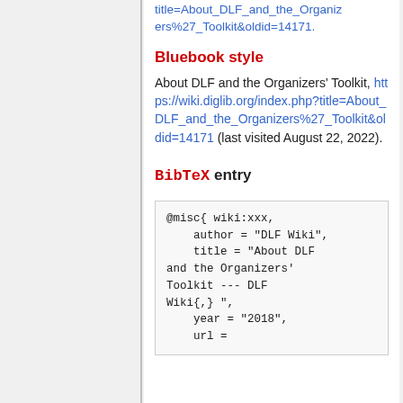title=About_DLF_and_the_Organizers%27_Toolkit&oldid=14171.
Bluebook style
About DLF and the Organizers' Toolkit, https://wiki.diglib.org/index.php?title=About_DLF_and_the_Organizers%27_Toolkit&oldid=14171 (last visited August 22, 2022).
BibTeX entry
@misc{ wiki:xxx,
    author = "DLF Wiki",
    title = "About DLF and the Organizers' Toolkit --- DLF Wiki{,} ",
    year = "2018",
    url =